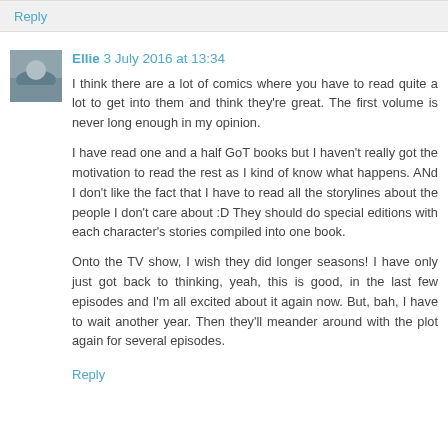Reply
Ellie 3 July 2016 at 13:34
I think there are a lot of comics where you have to read quite a lot to get into them and think they're great. The first volume is never long enough in my opinion.
I have read one and a half GoT books but I haven't really got the motivation to read the rest as I kind of know what happens. ANd I don't like the fact that I have to read all the storylines about the people I don't care about :D They should do special editions with each character's stories compiled into one book.
Onto the TV show, I wish they did longer seasons! I have only just got back to thinking, yeah, this is good, in the last few episodes and I'm all excited about it again now. But, bah, I have to wait another year. Then they'll meander around with the plot again for several episodes.
Reply